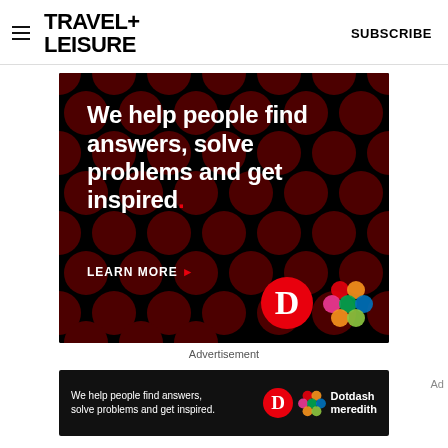TRAVEL+ LEISURE   SUBSCRIBE
[Figure (illustration): Dark advertisement with dark red polka-dot pattern background. Large white bold text reads: 'We help people find answers, solve problems and get inspired.' with a red period. 'LEARN MORE' with red arrow. Bottom right has Dotdash 'D' logo in red circle and Dotdash Meredith colorful knot logo.]
Advertisement
[Figure (illustration): Bottom banner ad: dark background with text 'We help people find answers, solve problems and get inspired.' with Dotdash D logo and Dotdash meredith branding on the right.]